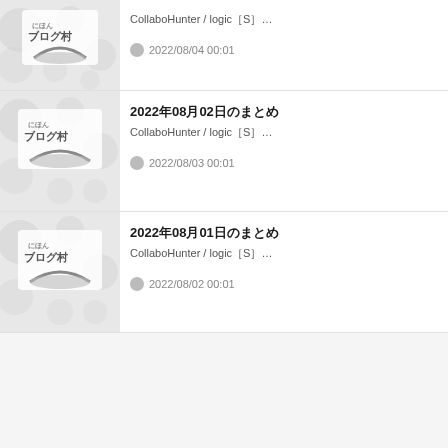CollaboHunter / logic【S】… | 2022/08/04 00:01
2022〈08〈02〉日のまとめ | CollaboHunter / logic【S】… | 2022/08/03 00:01
2022〈08〈01〉日のまとめ | CollaboHunter / logic【S】… | 2022/08/02 00:01